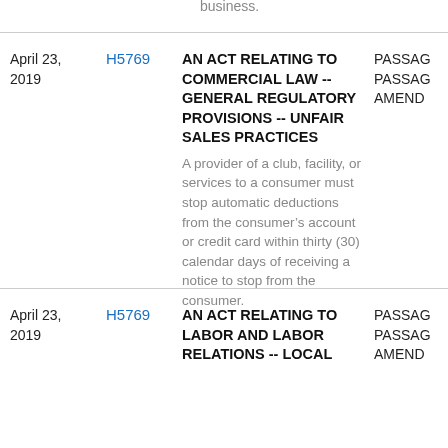business.
| Date | Bill | Description | Action |
| --- | --- | --- | --- |
| April 23, 2019 | H5769 | AN ACT RELATING TO COMMERCIAL LAW -- GENERAL REGULATORY PROVISIONS -- UNFAIR SALES PRACTICES
A provider of a club, facility, or services to a consumer must stop automatic deductions from the consumer's account or credit card within thirty (30) calendar days of receiving a notice to stop from the consumer. | PASSAGE PASSAGE AMEND |
| April 23, 2019 | H5769 | AN ACT RELATING TO LABOR AND LABOR RELATIONS -- LOCAL | PASSAGE PASSAGE AMEND |